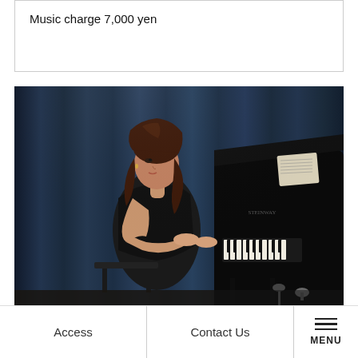Music charge 7,000 yen
[Figure (photo): A female pianist in a black dress performing on a Steinway grand piano on a stage with dark blue curtains in the background.]
November 5th Sat
Access | Contact Us | MENU